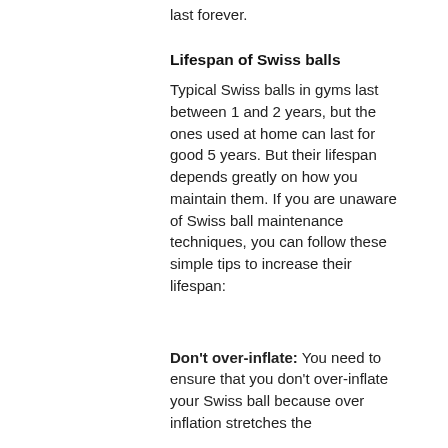last forever.
Lifespan of Swiss balls
Typical Swiss balls in gyms last between 1 and 2 years, but the ones used at home can last for good 5 years. But their lifespan depends greatly on how you maintain them. If you are unaware of Swiss ball maintenance techniques, you can follow these simple tips to increase their lifespan:
Don't over-inflate: You need to ensure that you don't over-inflate your Swiss ball because over inflation stretches the